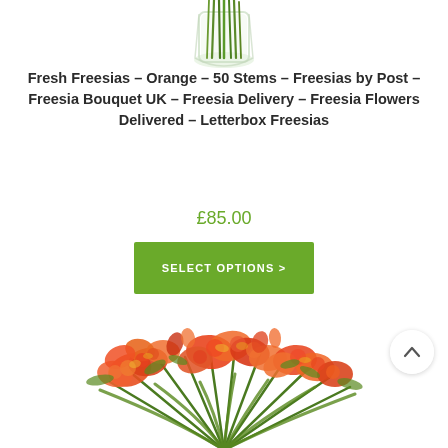[Figure (photo): Partial top view of a glass vase with green stems inside]
Fresh Freesias – Orange – 50 Stems – Freesias by Post – Freesia Bouquet UK – Freesia Delivery – Freesia Flowers Delivered – Letterbox Freesias
£85.00
SELECT OPTIONS >
[Figure (photo): Bouquet of orange and red freesia flowers with green stems on white background, with a scroll-up arrow button]